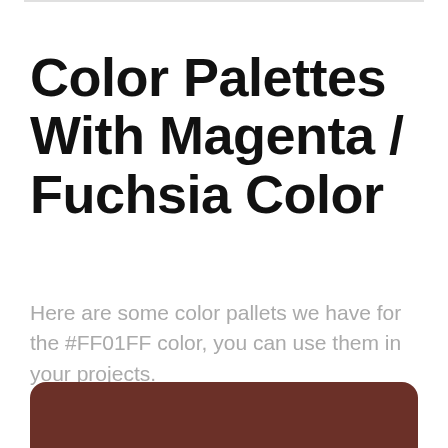Color Palettes With Magenta / Fuchsia Color
Here are some color pallets we have for the #FF01FF color, you can use them in your projects.
[Figure (illustration): A dark brownish-red rounded rectangle color swatch, partially visible at the bottom of the page.]